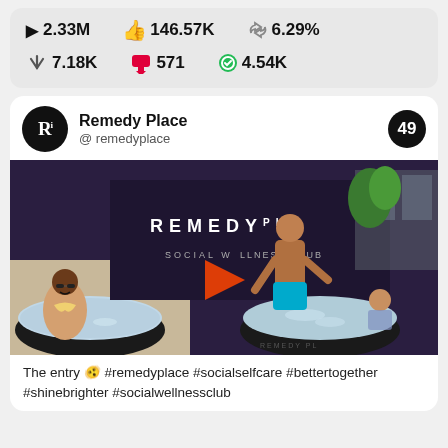▶ 2.33M   👍 146.57K   🔁 6.29%   ⬇ 7.18K   💬 571   ✅ 4.54K
Remedy Place @ remedyplace   49
[Figure (photo): People doing ice bath therapy at Remedy Place Social Wellness Club outdoor area. A dark banner reads REMEDY PL SOCIAL WELLNESS CLUB. Two people are in ice-filled black tubs, one man climbing in wearing blue shorts, a woman with sunglasses on the left.]
The entry 🫨 #remedyplace #socialselfcare #bettertogether #shinebrighter #socialwellnessclub